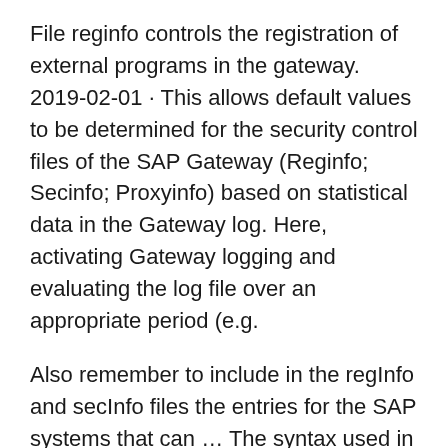File reginfo controls the registration of external programs in the gateway. 2019-02-01 · This allows default values to be determined for the security control files of the SAP Gateway (Reginfo; Secinfo; Proxyinfo) based on statistical data in the Gateway log. Here, activating Gateway logging and evaluating the log file over an appropriate period (e.g.
Also remember to include in the regInfo and secInfo files the entries for the SAP systems that can … The syntax used in the reginfo, secinfo and prxyinfo changed over time. It is strongly recommended to use syntax of Version 2, indicated by #VERSION=2 in the first line of the files. Furthermore the means of some security checks have been changed or even fixed over time. You can find the detailed